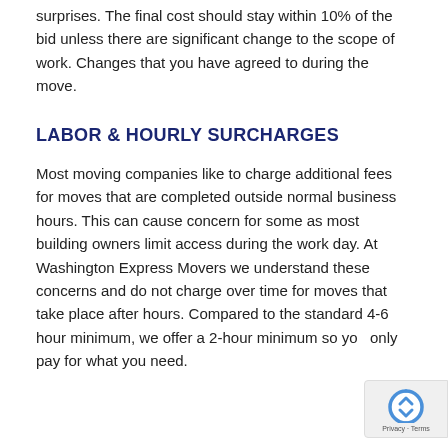surprises. The final cost should stay within 10% of the bid unless there are significant change to the scope of work. Changes that you have agreed to during the move.
LABOR & HOURLY SURCHARGES
Most moving companies like to charge additional fees for moves that are completed outside normal business hours. This can cause concern for some as most building owners limit access during the work day. At Washington Express Movers we understand these concerns and do not charge over time for moves that take place after hours. Compared to the standard 4-6 hour minimum, we offer a 2-hour minimum so you only pay for what you need.